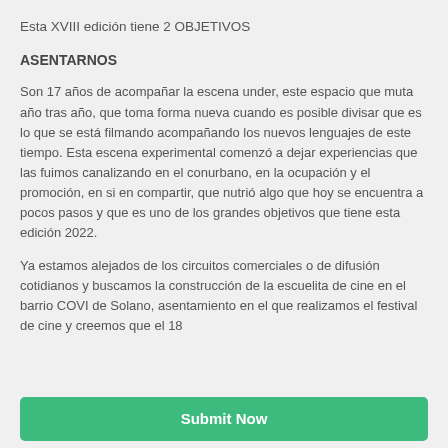Esta XVIII edición tiene 2 OBJETIVOS
ASENTARNOS
Son 17 años de acompañar la escena under, este espacio que muta año tras año, que toma forma nueva cuando es posible divisar que es lo que se está filmando acompañando los nuevos lenguajes de este tiempo. Esta escena experimental comenzó a dejar experiencias que las fuimos canalizando en el conurbano, en la ocupación y el promoción, en si en compartir, que nutrió algo que hoy se encuentra a pocos pasos y que es uno de los grandes objetivos que tiene esta edición 2022.
Ya estamos alejados de los circuitos comerciales o de difusión cotidianos y buscamos la construcción de la escuelita de cine en el barrio COVI de Solano, asentamiento en el que realizamos el festival de cine y creemos que el 18
Submit Now